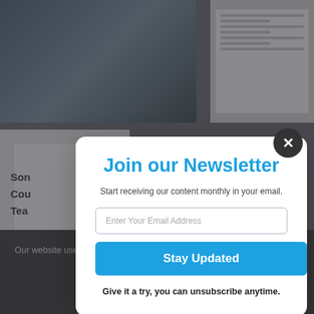[Figure (screenshot): Background of a website with image thumbnails and partially visible article text, overlaid with a semi-transparent dark overlay.]
Join our Newsletter
Start receiving our content monthly in your email.
Enter Your Email Address
Stay Updated
Give it a try, you can unsubscribe anytime.
Our website uses cookies to improve your experience. Learn more about: cookie policy
Accept